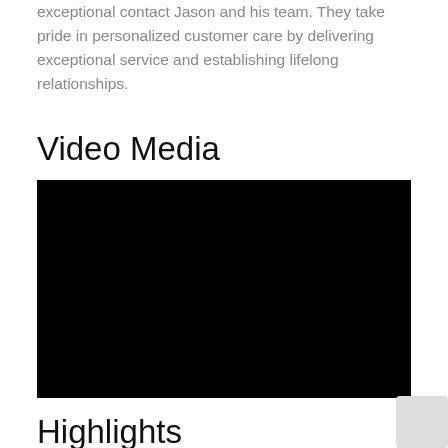exceptional contact Jason and his team. They take pride in personalized customer care by delivering exceptional service and establishing lifelong relationships.
Video Media
[Figure (other): Black video media player embed]
Highlights